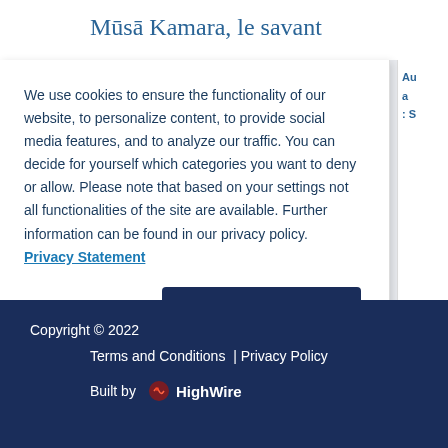Mūsā Kamara, le savant
We use cookies to ensure the functionality of our website, to personalize content, to provide social media features, and to analyze our traffic. You can decide for yourself which categories you want to deny or allow. Please note that based on your settings not all functionalities of the site are available. Further information can be found in our privacy policy.  Privacy Statement
Cookies Settings | Accept All Cookies
Copyright © 2022  Terms and Conditions | Privacy Policy  Built by HighWire